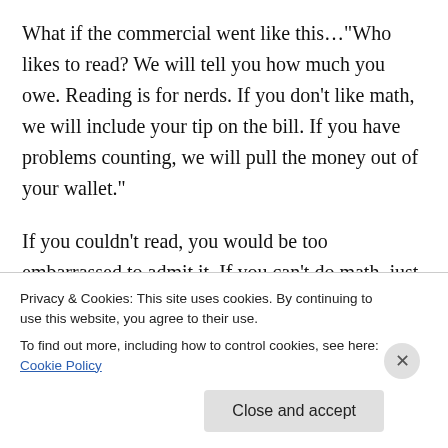What if the commercial went like this…"Who likes to read? We will tell you how much you owe. Reading is for nerds. If you don't like math, we will include your tip on the bill. If you have problems counting, we will pull the money out of your wallet."

If you couldn't read, you would be too embarrassed to admit it. If you can't do math, just throw your hands up and people will forgive you because they don't understand math either.
Privacy & Cookies: This site uses cookies. By continuing to use this website, you agree to their use.
To find out more, including how to control cookies, see here: Cookie Policy